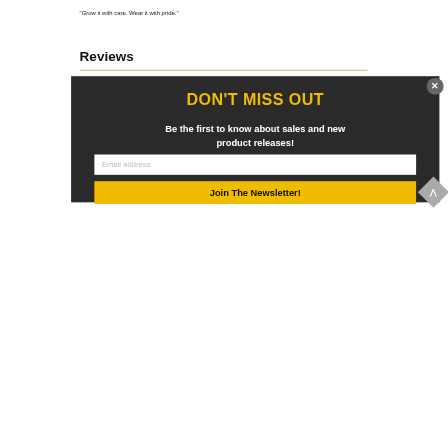"Grow it with care. Wear it with pride."
Reviews
[Figure (screenshot): Dark modal popup overlay with 'DON'T MISS OUT' headline in yellow, body text 'Be the first to know about sales and new product releases!', an email address input field, and a yellow 'Join The Newsletter!' button. An X close button appears in the upper right corner of the modal.]